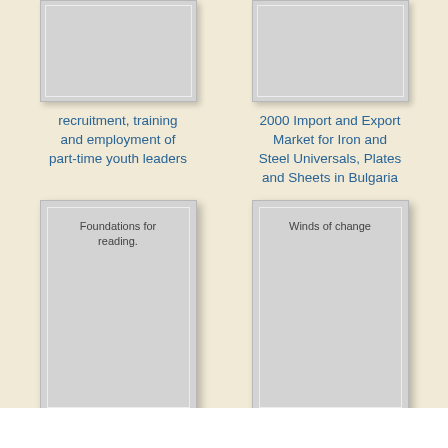[Figure (illustration): Partially visible book cover at top left, grey placeholder]
recruitment, training and employment of part-time youth leaders
[Figure (illustration): Partially visible book cover at top right, grey placeholder]
2000 Import and Export Market for Iron and Steel Universals, Plates and Sheets in Bulgaria
[Figure (illustration): Full book cover placeholder with text 'Foundations for reading.']
Foundations for reading.
[Figure (illustration): Full book cover placeholder with text 'Winds of change']
Winds of change